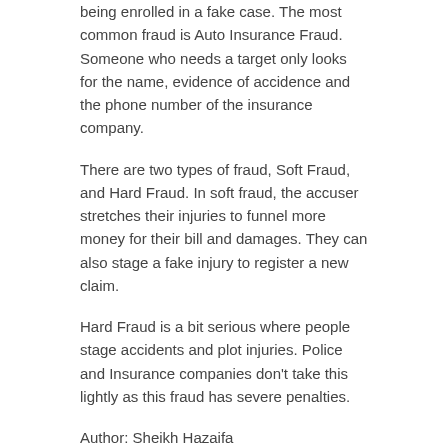being enrolled in a fake case. The most common fraud is Auto Insurance Fraud.  Someone who needs a target only looks for the name, evidence of accidence and the phone number of the insurance company.
There are two types of fraud, Soft Fraud, and Hard Fraud. In soft fraud, the accuser stretches their injuries to funnel more money for their bill and damages. They can also stage a fake injury to register a new claim.
Hard Fraud is a bit serious where people stage accidents and plot injuries. Police and Insurance companies don't take this lightly as this fraud has severe penalties.
Author: Sheikh Hazaifa